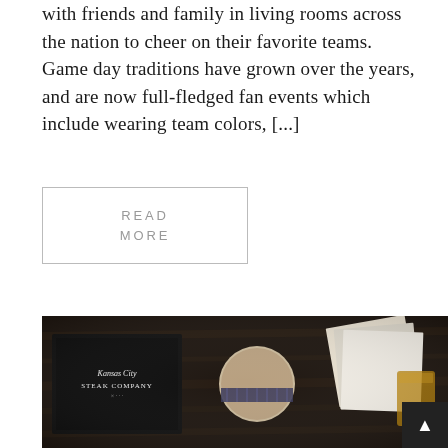with friends and family in living rooms across the nation to cheer on their favorite teams. Game day traditions have grown over the years, and are now full-fledged fan events which include wearing team colors, [...]
READ MORE
[Figure (photo): Dark moody photo of Kansas City Steak Company branding materials on a wooden table, including a black box with script logo, a round wooden container with plaid band, some papers/napkins, and a glass with amber liquid.]